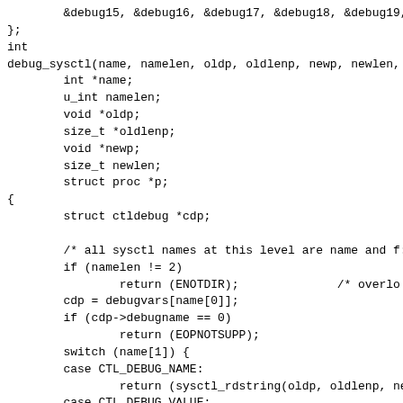C source code listing showing debug_sysctl function implementation